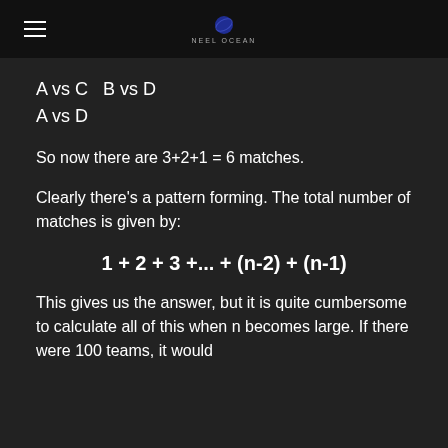NEEL OCEAN
A vs C  B vs D
A vs D
So now there are 3+2+1 = 6 matches.
Clearly there's a pattern forming. The total number of matches is given by:
This gives us the answer, but it is quite cumbersome to calculate all of this when n becomes large. If there were 100 teams, it would